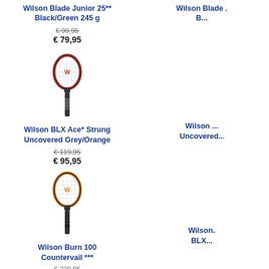Wilson Blade Junior 25** Black/Green 245 g
€ 99,95
€ 79,95
Wils... B...
[Figure (photo): Wilson BLX Ace tennis racket, grey/orange/red coloring, upright front view]
Wilson BLX Ace* Strung Uncovered Grey/Orange
€ 119,95
€ 95,95
Wilso... Unc...
[Figure (photo): Wilson Burn 100 tennis racket, orange/black coloring, upright front view]
Wilson Burn 100 Countervail ***
€ 229,95